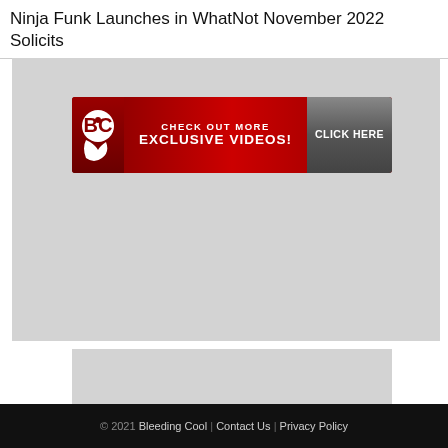Ninja Funk Launches in WhatNot November 2022 Solicits
[Figure (screenshot): Large gray placeholder image area for an embedded video player]
[Figure (screenshot): Banner advertisement: Bleeding Cool logo with text 'CHECK OUT MORE EXCLUSIVE VIDEOS! CLICK HERE' on dark red background with gray button]
[Figure (screenshot): Small gray placeholder image area below main content]
© 2021 Bleeding Cool | Contact Us | Privacy Policy